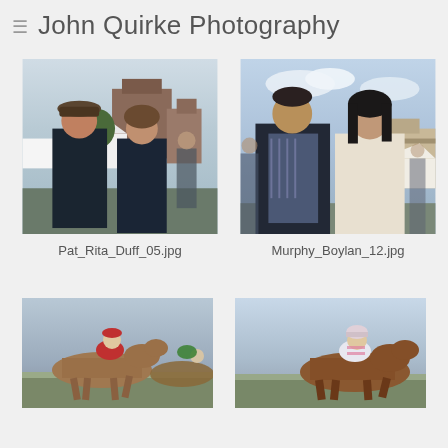≡ John Quirke Photography
[Figure (photo): Two people posing outdoors at what appears to be a racecourse. An older man wearing a flat cap and dark jacket on the left, a woman in a dark jacket on the right. Buildings and white tents visible in background.]
Pat_Rita_Duff_05.jpg
[Figure (photo): A couple posing together outdoors at a racecourse. A man in a striped shirt and dark jacket on the left, a woman with dark hair in a white/cream jacket on the right. Cloudy sky and buildings in background.]
Murphy_Boylan_12.jpg
[Figure (photo): Horse racing scene with jockey in red and white silks riding a horse, other horses and jockeys visible. Overcast sky.]
[Figure (photo): Horse racing scene with jockey in white and pink silks on a bay horse, racing at speed on a track. Cloudy sky background.]